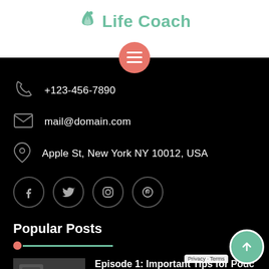Life Coach
+123-456-7890
mail@domain.com
Apple St, New York NY 10012, USA
[Figure (infographic): Social media icons: Facebook, Twitter, Instagram, Pinterest in circle outlines]
Popular Posts
[Figure (photo): Thumbnail image of podcast microphone setup]
Episode 1: Important Tips for Podc...